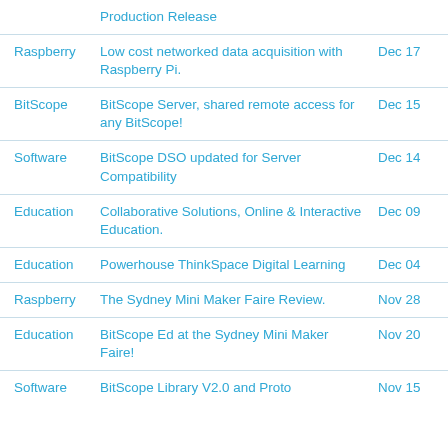| Category | Description | Date |
| --- | --- | --- |
|  | Production Release |  |
| Raspberry | Low cost networked data acquisition with Raspberry Pi. | Dec 17 |
| BitScope | BitScope Server, shared remote access for any BitScope! | Dec 15 |
| Software | BitScope DSO updated for Server Compatibility | Dec 14 |
| Education | Collaborative Solutions, Online & Interactive Education. | Dec 09 |
| Education | Powerhouse ThinkSpace Digital Learning | Dec 04 |
| Raspberry | The Sydney Mini Maker Faire Review. | Nov 28 |
| Education | BitScope Ed at the Sydney Mini Maker Faire! | Nov 20 |
| Software | BitScope Library V2.0 and Proto | Nov 15 |